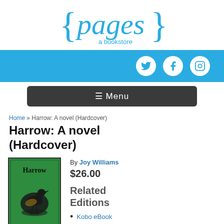[Figure (logo): {pages} a bookstore logo in teal]
[Figure (infographic): Teal navigation bar with Twitter, Facebook, and Instagram social icons on the right]
[Figure (infographic): Dark grey Menu button with hamburger icon]
Home » Harrow: A novel (Hardcover)
Harrow: A novel (Hardcover)
[Figure (illustration): Book cover for Harrow by Joy Williams: green background with a black bird illustration and the title Harrow in serif font at top]
By Joy Williams
$26.00
Related Editions
Kobo eBook